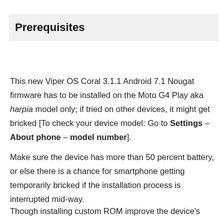Prerequisites
This new Viper OS Coral 3.1.1 Android 7.1 Nougat firmware has to be installed on the Moto G4 Play aka harpia model only; if tried on other devices, it might get bricked [To check your device model: Go to Settings – About phone – model number].
Make sure the device has more than 50 percent battery, or else there is a chance for smartphone getting temporarily bricked if the installation process is interrupted mid-way.
Though installing custom ROM improve the device's